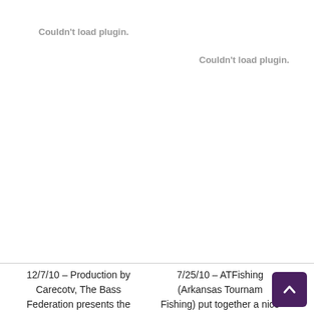Couldn't load plugin.
Couldn't load plugin.
12/7/10 – Production by Carecotv, The Bass Federation presents the
7/25/10 – ATFishing (Arkansas Tournament Fishing) put together a nice